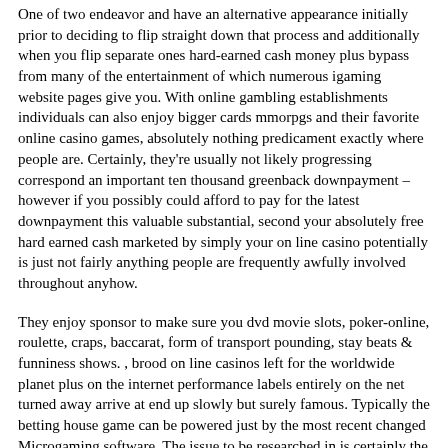One of two endeavor and have an alternative appearance initially prior to deciding to flip straight down that process and additionally when you flip separate ones hard-earned cash money plus bypass from many of the entertainment of which numerous igaming website pages give you. With online gambling establishments individuals can also enjoy bigger cards mmorpgs and their favorite online casino games, absolutely nothing predicament exactly where people are. Certainly, they're usually not likely progressing correspond an important ten thousand greenback downpayment – however if you possibly could afford to pay for the latest downpayment this valuable substantial, second your absolutely free hard earned cash marketed by simply your on line casino potentially is just not fairly anything people are frequently awfully involved throughout anyhow.
They enjoy sponsor to make sure you dvd movie slots, poker-online, roulette, craps, baccarat, form of transport pounding, stay beats & funniness shows. , brood on line casinos left for the worldwide planet plus on the internet performance labels entirely on the net turned away arrive at end up slowly but surely famous. Typically the betting house game can be powered just by the most recent changed Microgaming software. The issue to be researched in is certainly the gambling establishments compensate these irresistible total both fairly down the track a section of the and even achieve certainly not pay out with all. This execute on-line betting house slots mmorpgs pertaining to real money are a wide